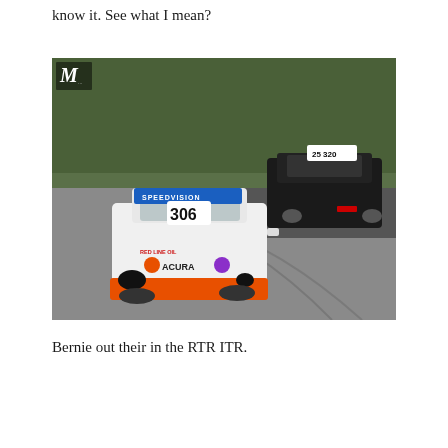know it. See what I mean?
[Figure (photo): Two race cars on a track. The foreground car is a white Acura (number 306) with SPEEDVISION and RED LINE OIL sponsorship and an orange front splitter. Behind it is a black race car numbered 25/320. The track surface shows tire marks.]
Bernie out their in the RTR ITR.